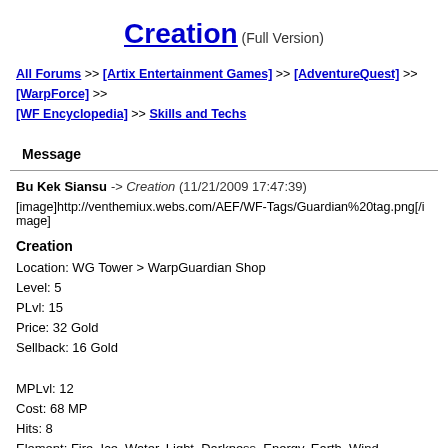Creation (Full Version)
All Forums >> [Artix Entertainment Games] >> [AdventureQuest] >> [WarpForce] >> [WF Encyclopedia] >> Skills and Techs
Message
Bu Kek Siansu -> Creation (11/21/2009 17:47:39)
[image]http://venthemiux.webs.com/AEF/WF-Tags/Guardian%20tag.png[/image]
Creation
Location: WG Tower > WarpGuardian Shop
Level: 5
PLvl: 15
Price: 32 Gold
Sellback: 16 Gold

MPLvl: 12
Cost: 68 MP
Hits: 8
Element: Fire, Ice, Water, Light, Darkness, Energy, Earth, Wind
Type: Magic